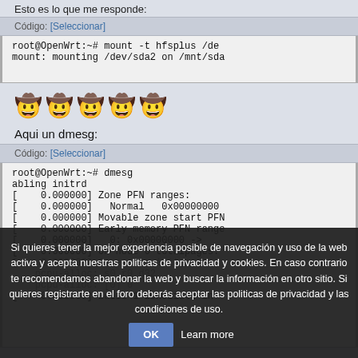Esto es lo que me responde:
Código: [Seleccionar]
root@OpenWrt:~# mount -t hfsplus /de
mount: mounting /dev/sda2 on /mnt/sda
[Figure (illustration): Five cowboy smiley face emoji in a row]
Aqui un dmesg:
Código: [Seleccionar]
root@OpenWrt:~# dmesg
abling initrd
[    0.000000] Zone PFN ranges:
[    0.000000]   Normal   0x00000000
[    0.000000] Movable zone start PFN
[    0.000000] Early memory PFN range
[    0.000000]   0: 0x00000000 ->
[    0.000000] On node 0 totalpages:
[    0.000000] free_area_init_node:
Si quieres tener la mejor experiencia posible de navegación y uso de la web activa y acepta nuestras politicas de privacidad y cookies. En caso contrario te recomendamos abandonar la web y buscar la información en otro sitio. Si quieres registrarte en el foro deberás aceptar las politicas de privacidad y las condiciones de uso.